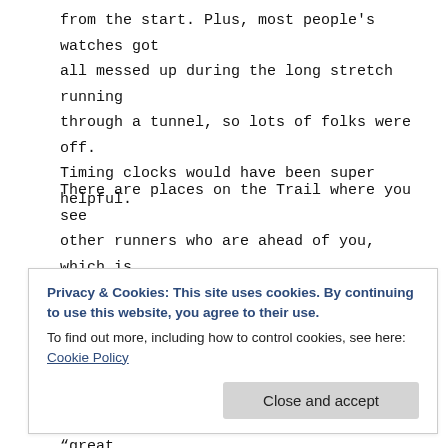from the start. Plus, most people's watches got all messed up during the long stretch running through a tunnel, so lots of folks were off. Timing clocks would have been super helpful.
There are places on the Trail where you see other runners who are ahead of you, which is motivating. I love it when the lead folks have gotten to the turn-around and are coming back
Privacy & Cookies: This site uses cookies. By continuing to use this website, you agree to their use.
To find out more, including how to control cookies, see here: Cookie Policy
too, as there are typically a lot of “great